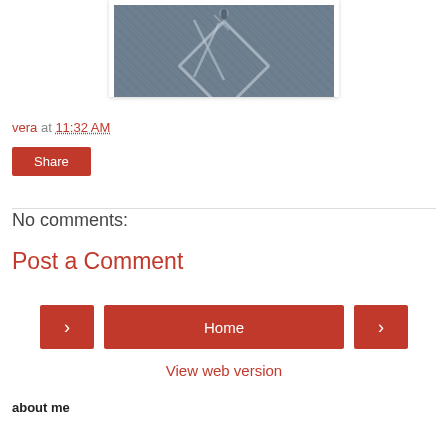[Figure (photo): Close-up photo of blue denim jeans fabric with stitching details]
vera at 11:32 AM
Share
No comments:
Post a Comment
Home
View web version
about me